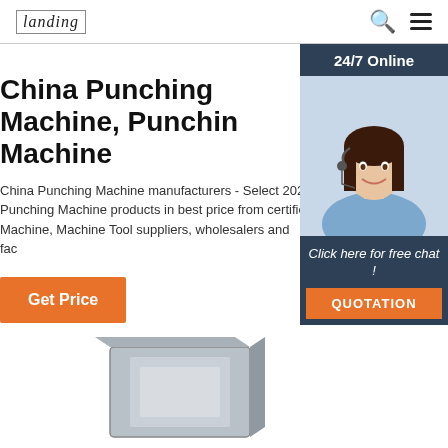Landing | Search | Menu
China Punching Machine, Punching Machine
China Punching Machine manufacturers - Select 2023 Punching Machine products in best price from certified Machine, Machine Tool suppliers, wholesalers and factory
Get Price
[Figure (photo): 24/7 Online chat widget with female customer service agent wearing headset, dark navy background, with 'Click here for free chat!' text and orange QUOTATION button]
[Figure (photo): Partial view of a punching machine product at the bottom of the page]